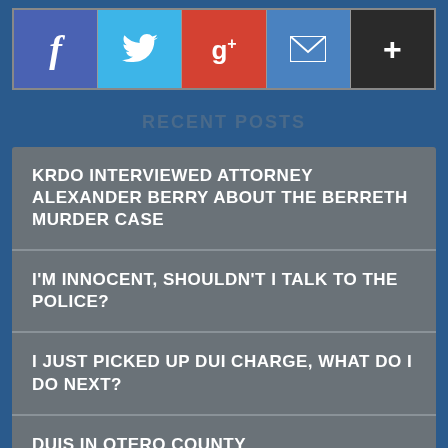[Figure (infographic): Social sharing buttons: Facebook (blue/purple), Twitter (light blue with bird icon), Google+ (red), Email (blue with envelope icon), More/+ (dark/black)]
RECENT POSTS
KRDO INTERVIEWED ATTORNEY ALEXANDER BERRY ABOUT THE BERRETH MURDER CASE
I'M INNOCENT, SHOULDN'T I TALK TO THE POLICE?
I JUST PICKED UP DUI CHARGE, WHAT DO I DO NEXT?
DUIS IN OTERO COUNTY
POST CUT OFF/PARTIALLY VISIBLE